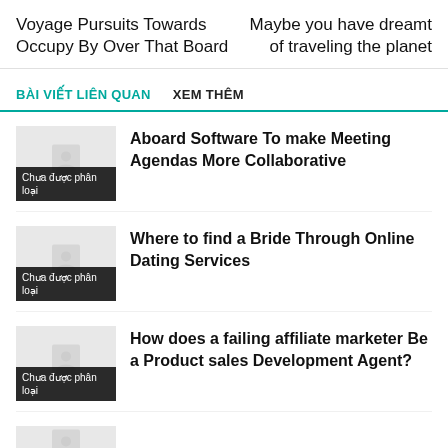Voyage Pursuits Towards Occupy By Over That Board
Maybe you have dreamt of traveling the planet
BÀI VIẾT LIÊN QUAN   XEM THÊM
Aboard Software To make Meeting Agendas More Collaborative
Chưa được phân loại
Where to find a Bride Through Online Dating Services
Chưa được phân loại
How does a failing affiliate marketer Be a Product sales Development Agent?
Chưa được phân loại